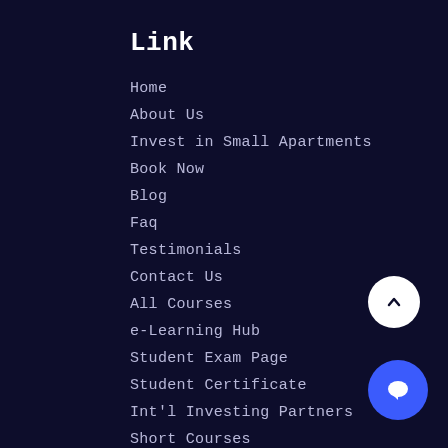Link
Home
About Us
Invest in Small Apartments
Book Now
Blog
Faq
Testimonials
Contact Us
All Courses
e-Learning Hub
Student Exam Page
Student Certificate
Int'l Investing Partners
Short Courses
Information